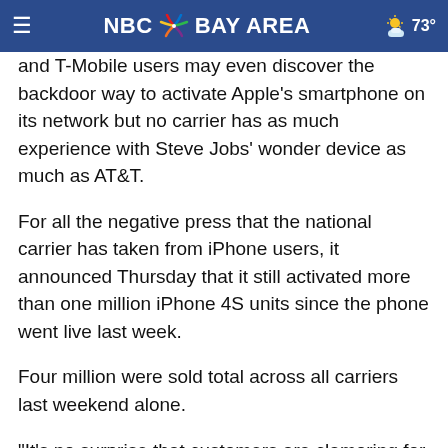NBC Bay Area
and T-Mobile users may even discover the backdoor way to activate Apple's smartphone on its network but no carrier has as much experience with Steve Jobs' wonder device as much as AT&T.
For all the negative press that the national carrier has taken from iPhone users, it announced Thursday that it still activated more than one million iPhone 4S units since the phone went live last week.
Four million were sold total across all carriers last weekend alone.
"It's no surprise that customers are clamoring for iPhone 4S and they want it to run on a network that lets them download twice as fast as competitors," AT&T President and CEO of Mobility & Consumer Markets, Ralph de la Vega, said in a